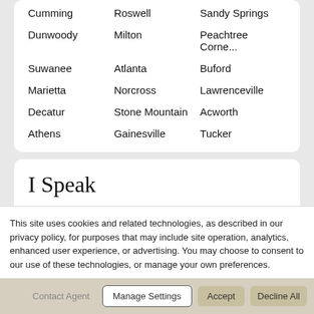Cumming
Roswell
Sandy Springs
Dunwoody
Milton
Peachtree Corne...
Suwanee
Atlanta
Buford
Marietta
Norcross
Lawrenceville
Decatur
Stone Mountain
Acworth
Athens
Gainesville
Tucker
I Speak
Chinese
Mandarin Chinese
This site uses cookies and related technologies, as described in our privacy policy, for purposes that may include site operation, analytics, enhanced user experience, or advertising. You may choose to consent to our use of these technologies, or manage your own preferences.